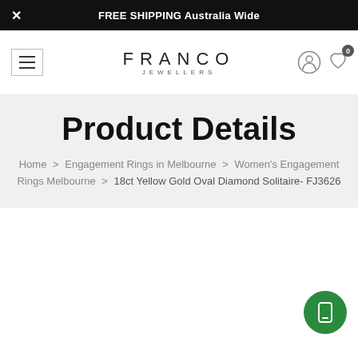FREE SHIPPING Australia Wide
[Figure (logo): Franco Jewellers logo with brand name and subtitle]
Product Details
Home > Engagement Rings in Melbourne > Women's Engagement Rings Melbourne > 18ct Yellow Gold Oval Diamond Solitaire- FJ3626
[Figure (other): Green circular FAB button with phone/mobile icon]